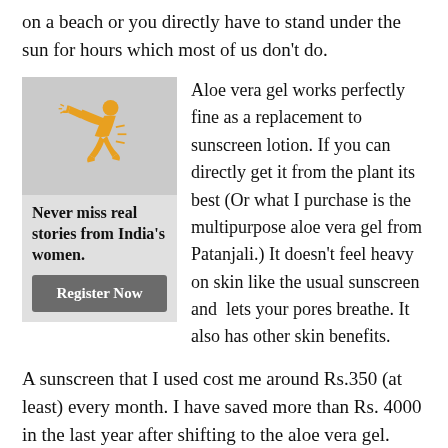on a beach or you directly have to stand under the sun for hours which most of us don't do.
[Figure (illustration): Orange/yellow illustration of a running woman with a megaphone, on a grey background, part of an advertisement widget]
Never miss real stories from India's women.
Register Now
Aloe vera gel works perfectly fine as a replacement to sunscreen lotion. If you can directly get it from the plant its best (Or what I purchase is the  multipurpose aloe vera gel from Patanjali.) It doesn't feel heavy on skin like the usual sunscreen and  lets your pores breathe. It also has other skin benefits.
A sunscreen that I used cost me around Rs.350 (at least) every month. I have saved more than Rs. 4000 in the last year after shifting to the aloe vera gel.